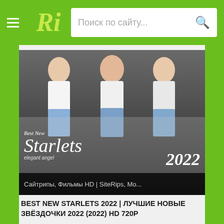Ri | Поиск по сайту...
[Figure (photo): Thumbnail image for 'Best New Starlets 2022' showing three women in white tops and denim shorts with movie title overlay text. Bottom bar reads: Сайтрипы, Фильмы HD | SiteRips, Mo...]
BEST NEW STARLETS 2022 | ЛУЧШИЕ НОВЫЕ ЗВЁЗДОЧКИ 2022 (2022) HD 720P
[Figure (photo): Thumbnail image for 'Roadside XXX' by Bang showing title text on dark background with a woman on the right side. Labels: DAIGE BELLE]